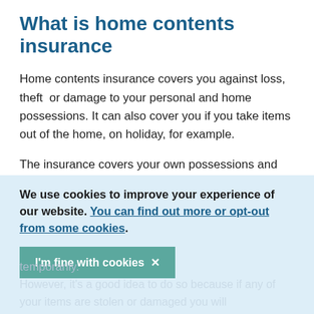What is home contents insurance
Home contents insurance covers you against loss, theft  or damage to your personal and home possessions. It can also cover you if you take items out of the home, on holiday, for example.
The insurance covers your own possessions and those of close family members living with you. It may not cover the possessions of anyone staying with you temporarily.
We use cookies to improve your experience of our website. You can find out more or opt-out from some cookies.
I'm fine with cookies ✕